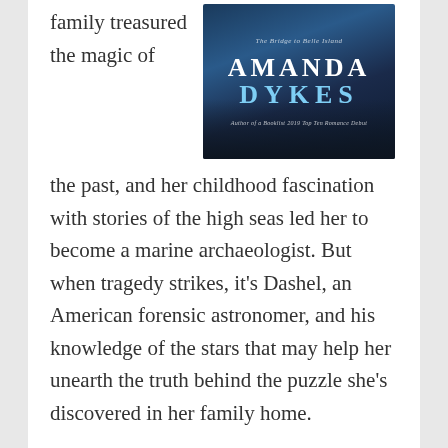[Figure (photo): Book cover for a novel by Amanda Dykes, showing a dramatic coastal/mountain scene with deep blue tones. The cover reads 'The Bridge to Belle Island' at the top, 'AMANDA DYKES' in large text, and 'Author of a Booklist 2019 Top Ten Romance Debut' at the bottom.]
family treasured the magic of the past, and her childhood fascination with stories of the high seas led her to become a marine archaeologist. But when tragedy strikes, it's Dashel, an American forensic astronomer, and his knowledge of the stars that may help her unearth the truth behind the puzzle she's discovered in her family home.

Two hundred years earlier, the seeds of love are sown between a boy and a girl who spend their days playing in a secret sea cave, while the privileged young son of the estate